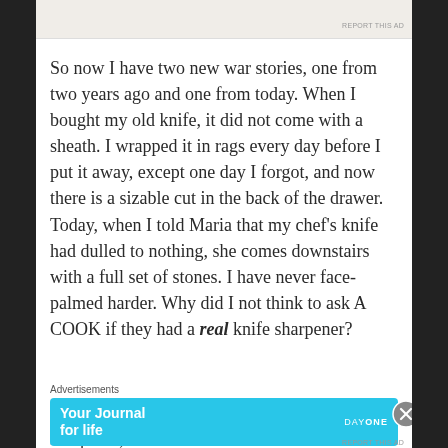[Figure (other): Top advertisement banner with beige/cream background and 'REPORT THIS AD' label]
So now I have two new war stories, one from two years ago and one from today. When I bought my old knife, it did not come with a sheath. I wrapped it in rags every day before I put it away, except one day I forgot, and now there is a sizable cut in the back of the drawer. Today, when I told Maria that my chef’s knife had dulled to nothing, she comes downstairs with a full set of stones. I have never face-palmed harder. Why did I not think to ask A COOK if they had a real knife sharpener?
Side note: you can buy an electric knife sharpener,
Advertisements
[Figure (other): Day One app advertisement banner with cyan/blue background showing 'Your Journal for life' text and DAY ONE branding with phone image]